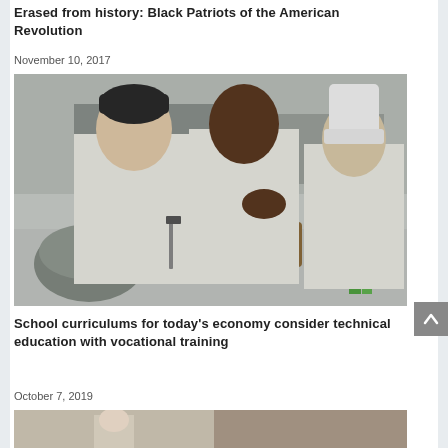Erased from history: Black Patriots of the American Revolution
November 10, 2017
[Figure (photo): Three chefs in white uniforms working in a kitchen, chopping vegetables on a stainless steel counter]
School curriculums for today's economy consider technical education with vocational training
October 7, 2019
[Figure (photo): Partial view of another article image at the bottom of the page]